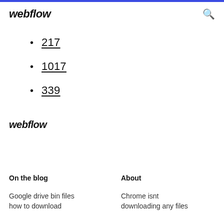webflow
217
1017
339
webflow
On the blog
About
Google drive bin files how to download
Chrome isnt downloading any files